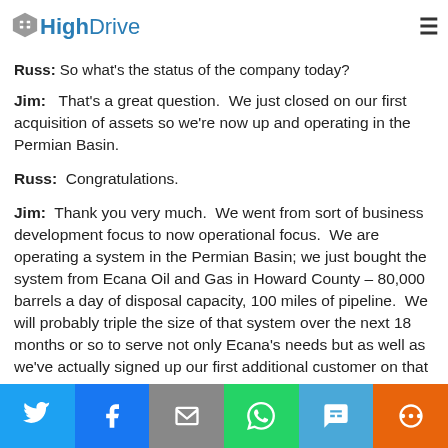HighDrive
Russ: So what's the status of the company today?
Jim: That's a great question. We just closed on our first acquisition of assets so we're now up and operating in the Permian Basin.
Russ: Congratulations.
Jim: Thank you very much. We went from sort of business development focus to now operational focus. We are operating a system in the Permian Basin; we just bought the system from Ecana Oil and Gas in Howard County – 80,000 barrels a day of disposal capacity, 100 miles of pipeline. We will probably triple the size of that system over the next 18 months or so to serve not only Ecana's needs but as well as we've actually signed up our first additional customer on that system. So we've
Twitter | Facebook | Email | WhatsApp | SMS | More